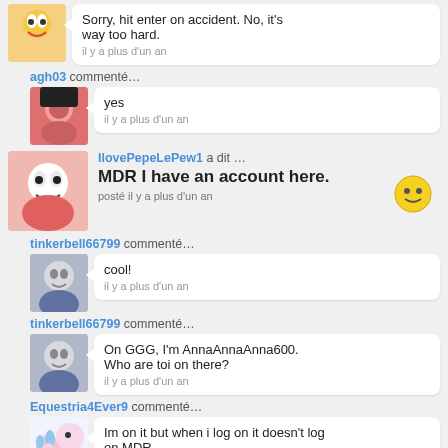Sorry, hit enter on accident. No, it's way too hard.
il y a plus d'un an
agh03 commenté…
yes
il y a plus d'un an
IlovePepeLePew1 a dit …
MDR I have an account here.
posté il y a plus d'un an
tinkerbell66799 commenté…
cool!
il y a plus d'un an
tinkerbell66799 commenté…
On GGG, I'm AnnaAnnaAnna600. Who are toi on there?
il y a plus d'un an
Equestria4Ever9 commenté…
Im on it but when i log on it doesn't log on MDR